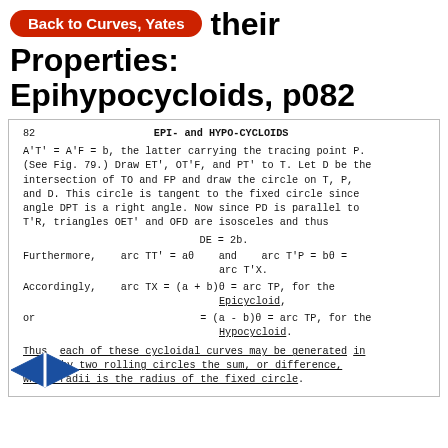Back to Curves, Yates
their Properties: Epihypocycloids, p082
82   EPI- and HYPO-CYCLOIDS
A'T' = A'F = b, the latter carrying the tracing point P. (See Fig. 79.) Draw ET', OT'F, and PT' to T. Let D be the intersection of TO and FP and draw the circle on T, P, and D. This circle is tangent to the fixed circle since angle DPT is a right angle. Now since PD is parallel to T'R, triangles OET' and OFD are isosceles and thus
Furthermore,    arc TT' = aθ    and    arc T'P = bθ = arc T'X.
Accordingly,    arc TX = (a + b)θ = arc TP, for the Epicycloid,
or                          = (a - b)θ = arc TP, for the Hypocycloid.
Thus each of these cycloidal curves may be generated in turn by two rolling circles the sum, or difference, whose radii is the radius of the fixed circle.